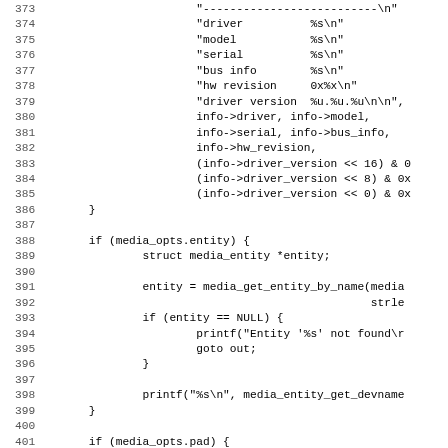[Figure (screenshot): Source code listing in C showing lines 373-405, featuring printf format strings and media entity/pad handling logic with line numbers on the left and code on the right in monospace font.]